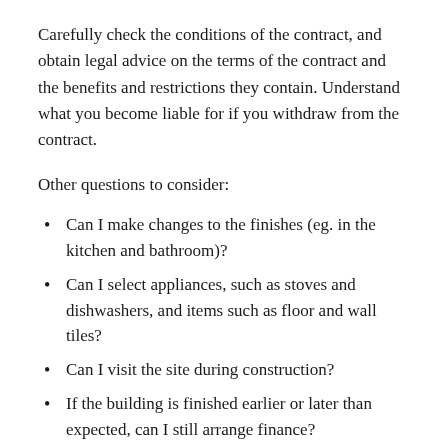Carefully check the conditions of the contract, and obtain legal advice on the terms of the contract and the benefits and restrictions they contain. Understand what you become liable for if you withdraw from the contract.
Other questions to consider:
Can I make changes to the finishes (eg. in the kitchen and bathroom)?
Can I select appliances, such as stoves and dishwashers, and items such as floor and wall tiles?
Can I visit the site during construction?
If the building is finished earlier or later than expected, can I still arrange finance?
What are my rights if construction is delayed or